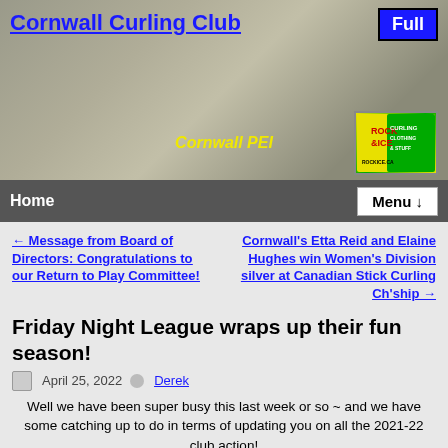[Figure (photo): Header photo of Cornwall Curling Club building exterior with navigation bar. Yellow italic text 'Cornwall PEI' overlaid. Blue underlined title 'Cornwall Curling Club' top-left. 'Full' button top-right. Rock Ice badge bottom-right of image.]
Home  Menu ↓
← Message from Board of Directors: Congratulations to our Return to Play Committee!
Cornwall's Etta Reid and Elaine Hughes win Women's Division silver at Canadian Stick Curling Ch'ship →
Friday Night League wraps up their fun season!
April 25, 2022  Derek
Well we have been super busy this last week or so ~ and we have some catching up to do in terms of updating you on all the 2021-22 club action!
Good thing this group is so laid back…
It's our Friday Night Fun League!!!
And what a time that Friday Nights were!